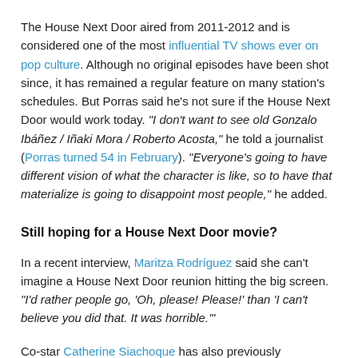The House Next Door aired from 2011-2012 and is considered one of the most influential TV shows ever on pop culture. Although no original episodes have been shot since, it has remained a regular feature on many station's schedules. But Porras said he's not sure if the House Next Door would work today. "I don't want to see old Gonzalo Ibáñez / Iñaki Mora / Roberto Acosta," he told a journalist (Porras turned 54 in February). "Everyone's going to have different vision of what the character is like, so to have that materialize is going to disappoint most people," he added.
Still hoping for a House Next Door movie?
In a recent interview, Maritza Rodríguez said she can't imagine a House Next Door reunion hitting the big screen. "I'd rather people go, 'Oh, please! Please!' than 'I can't believe you did that. It was horrible.'"
Co-star Catherine Siachoque has also previously explained, "It would be terrible to do something and have it not be good,". "It was so terrific ... If we did a House Next Door movie and it sucked, then it would, you know, blemish it."